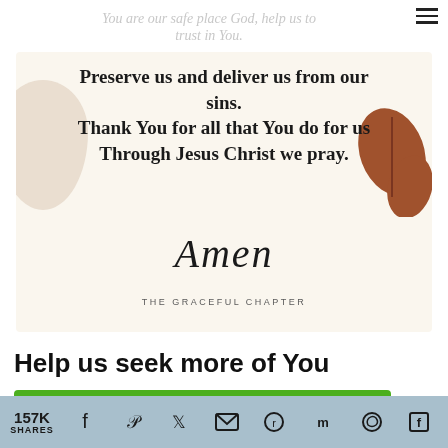You are our safe place God, help us to trust in You.
[Figure (illustration): Cream-colored card with prayer text, decorative beige blob on the left, rust-colored leaf illustration on the right, cursive 'Amen' signature, and 'THE GRACEFUL CHAPTER' text at the bottom. Card text reads: Preserve us and deliver us from our sins. Thank You for all that You do for us Through Jesus Christ we pray. Amen. THE GRACEFUL CHAPTER]
Help us seek more of You
[Figure (screenshot): Green OPEN button advertisement with AD badge icons. Below: Visual Collaboration Suite]
Visual Collaboration Suite
157K SHARES